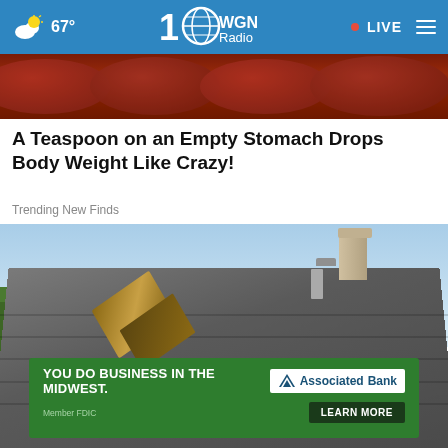67° WGN Radio LIVE
[Figure (photo): Close-up photo of red sausages or hot dogs]
A Teaspoon on an Empty Stomach Drops Body Weight Like Crazy!
Trending New Finds
[Figure (photo): Photo of a rooftop with open skylight window, green trees and landscape visible in background, blue sky above]
[Figure (infographic): Associated Bank advertisement: YOU DO BUSINESS IN THE MIDWEST. AssociatedBank. Member FDIC. LEARN MORE.]